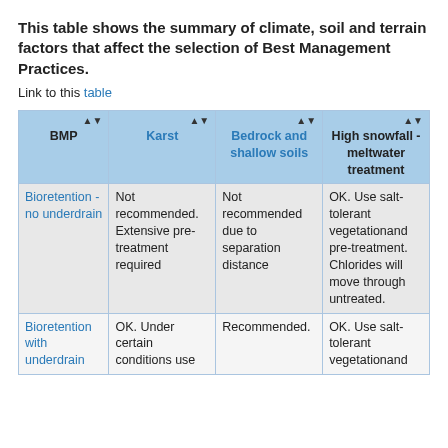This table shows the summary of climate, soil and terrain factors that affect the selection of Best Management Practices.
Link to this table
| BMP | Karst | Bedrock and shallow soils | High snowfall - meltwater treatment |
| --- | --- | --- | --- |
| Bioretention - no underdrain | Not recommended. Extensive pre-treatment required | Not recommended due to separation distance | OK. Use salt-tolerant vegetationand pre-treatment. Chlorides will move through untreated. |
| Bioretention with underdrain | OK. Under certain conditions use | Recommended. | OK. Use salt-tolerant vegetationand |